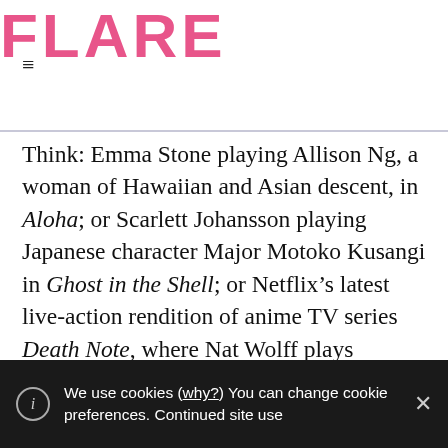FLARE
Think: Emma Stone playing Allison Ng, a woman of Hawaiian and Asian descent, in Aloha; or Scarlett Johansson playing Japanese character Major Motoko Kusangi in Ghost in the Shell; or Netflix’s latest live-action rendition of anime TV series Death Note, where Nat Wolff plays Japanese high school student Light Yagami.
You’re a talented actor; why would
We use cookies (why?) You can change cookie preferences. Continued site use